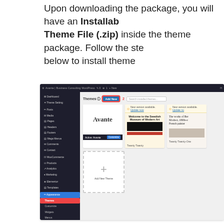Upon downloading the package, you will have an Installable Theme File (.zip) inside the theme package. Follow the steps below to install theme
[Figure (screenshot): WordPress admin dashboard screenshot showing the Themes page with 'Add New' button highlighted in red, displaying the Avante theme as active, plus Twenty Twenty and Twenty Twenty-One themes, and an Add New Theme card with a + button. The left sidebar shows Appearance > Themes highlighted.]